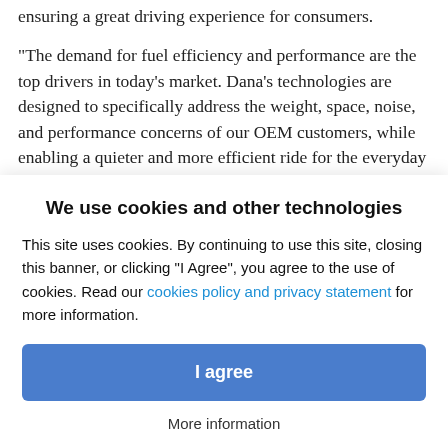ensuring a great driving experience for consumers.
"The demand for fuel efficiency and performance are the top drivers in today's market. Dana's technologies are designed to specifically address the weight, space, noise, and performance concerns of our OEM customers, while enabling a quieter and more efficient ride for the everyday driver," said Roger Wood, Dana president and chief executive officer. "The number of award-winning vehicles that contain Dana's innovations demonstrates the...
We use cookies and other technologies
This site uses cookies. By continuing to use this site, closing this banner, or clicking "I Agree", you agree to the use of cookies. Read our cookies policy and privacy statement for more information.
I agree
More information